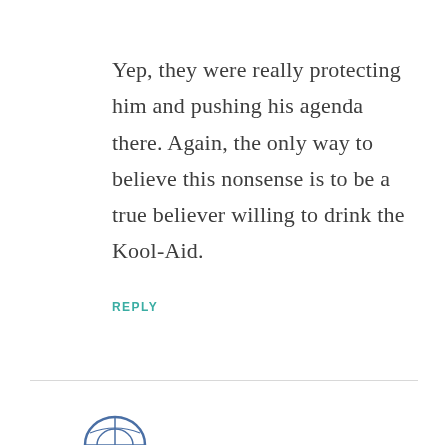Yep, they were really protecting him and pushing his agenda there. Again, the only way to believe this nonsense is to be a true believer willing to drink the Kool-Aid.
REPLY